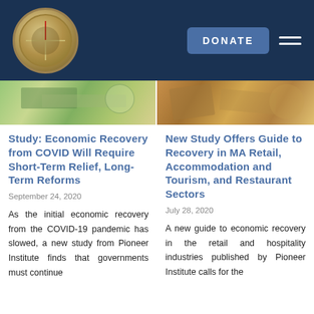Pioneer Institute — Navigation header with compass logo, DONATE button, and hamburger menu
[Figure (photo): Left article thumbnail image — appears to show a map or document with green and yellow tones]
[Figure (photo): Right article thumbnail image — appears to show tableware or restaurant setting with warm brown tones]
Study: Economic Recovery from COVID Will Require Short-Term Relief, Long-Term Reforms
September 24, 2020
As the initial economic recovery from the COVID-19 pandemic has slowed, a new study from Pioneer Institute finds that governments must continue
New Study Offers Guide to Recovery in MA Retail, Accommodation and Tourism, and Restaurant Sectors
July 28, 2020
A new guide to economic recovery in the retail and hospitality industries published by Pioneer Institute calls for the